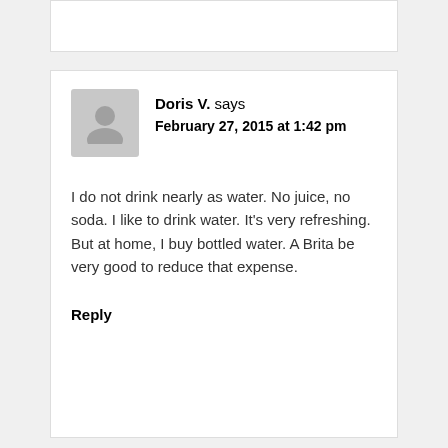Doris V. says
February 27, 2015 at 1:42 pm
I do not drink nearly as water. No juice, no soda. I like to drink water. It's very refreshing. But at home, I buy bottled water. A Brita be very good to reduce that expense.
Reply